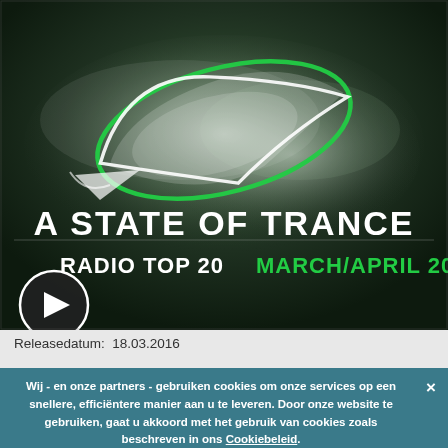[Figure (screenshot): A State of Trance Radio Top 20 March/April 2016 album art. Dark green/black background with white cloud smoke effect and the ASOT logo (stylized leaf/eye shape in white and green). Text reads 'A STATE OF TRANCE' in large white bold letters and 'RADIO TOP 20 MARCH/APRIL 2016' below it. A circular play button is visible in bottom left.]
Releasedatum:  18.03.2016
Wij - en onze partners - gebruiken cookies om onze services op een snellere, efficiëntere manier aan u te leveren. Door onze website te gebruiken, gaat u akkoord met het gebruik van cookies zoals beschreven in ons Cookiebeleid.